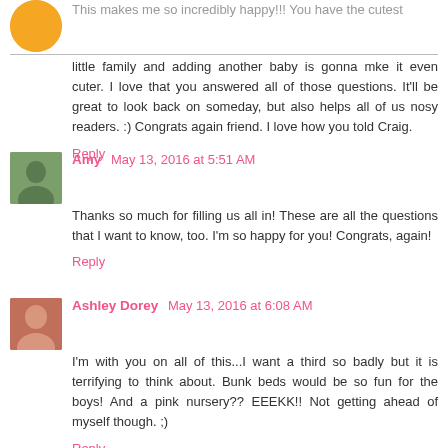This makes me so incredibly happy!!! You have the cutest little family and adding another baby is gonna mke it even cuter. I love that you answered all of those questions. It'll be great to look back on someday, but also helps all of us nosy readers. :) Congrats again friend. I love how you told Craig.
Reply
Amy May 13, 2016 at 5:51 AM
Thanks so much for filling us all in! These are all the questions that I want to know, too. I'm so happy for you! Congrats, again!
Reply
Ashley Dorey May 13, 2016 at 6:08 AM
I'm with you on all of this...I want a third so badly but it is terrifying to think about. Bunk beds would be so fun for the boys! And a pink nursery?? EEEKK!! Not getting ahead of myself though. ;)
Reply